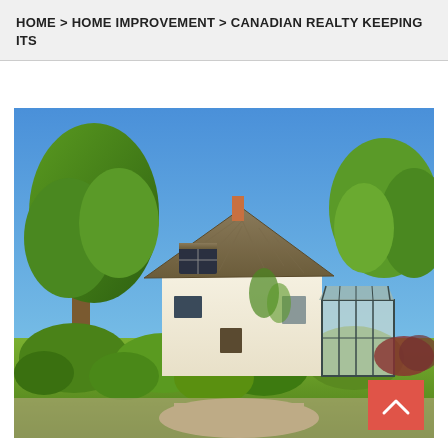HOME > HOME IMPROVEMENT > CANADIAN REALTY KEEPING ITS
[Figure (photo): Photograph of a charming cottage-style house with a thatched roof, white exterior walls, surrounded by lush green trees and garden shrubs under a clear blue sky. A glass conservatory addition is visible on the right side of the house. A red scroll-to-top button with an upward chevron is in the bottom-right corner of the image.]